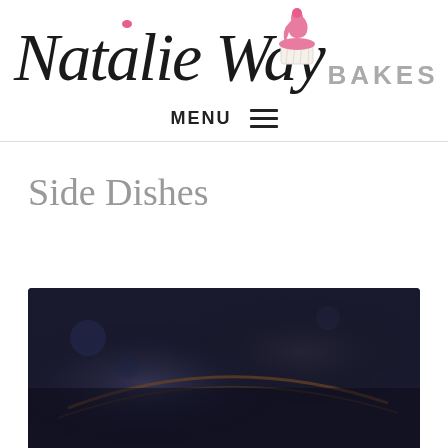[Figure (logo): Natalie Way Bakes logo with cursive script text and cupcake illustration]
MENU ≡
Side Dishes
[Figure (photo): Dark moody food photograph, partially visible, showing what appears to be a dish on a dark background]